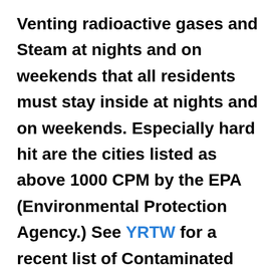Venting radioactive gases and Steam at nights and on weekends that all residents must stay inside at nights and on weekends. Especially hard hit are the cities listed as above 1000 CPM by the EPA (Environmental Protection Agency.) See YRTW for a recent list of Contaminated Cities.